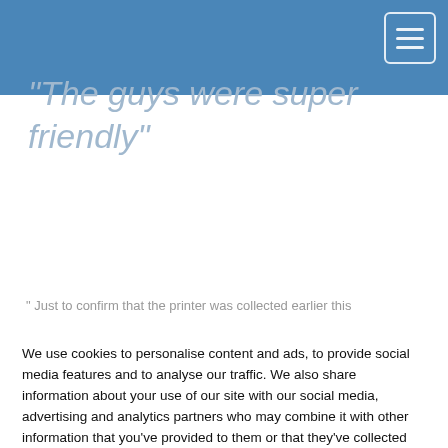"The guys were super friendly"
" Just to confirm that the printer was collected earlier this
We use cookies to personalise content and ads, to provide social media features and to analyse our traffic. We also share information about your use of our site with our social media, advertising and analytics partners who may combine it with other information that you've provided to them or that they've collected from your use of their services. For more information see our cookie policy.
Preference
Allow All
Disable All